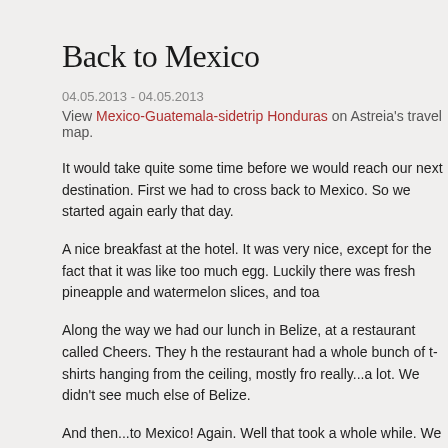Back to Mexico
04.05.2013 - 04.05.2013
View Mexico-Guatemala-sidetrip Honduras on Astreia's travel map.
It would take quite some time before we would reach our next destination. First we had to cross back to Mexico. So we started again early that day.
A nice breakfast at the hotel. It was very nice, except for the fact that it was like... too much egg. Luckily there was fresh pineapple and watermelon slices, and toa...
Along the way we had our lunch in Belize, at a restaurant called Cheers. They h... the restaurant had a whole bunch of t-shirts hanging from the ceiling, mostly fro... really...a lot. We didn't see much else of Belize.
And then...to Mexico! Again. Well that took a whole while. We got at the border a... through. A snail could keep up, really the line didn't get any shorter it seemed. A... the visa form you need to fill in to be allowed in Mexico) were way busy watchin... But after two hours, we were allowed in, and we could go to our hotel.
It was also nearly dinner time so we went to a pizzarestaurant. With...huge...pizz... Medium was even worse, and i only could imagine the large ones...The lemonad...